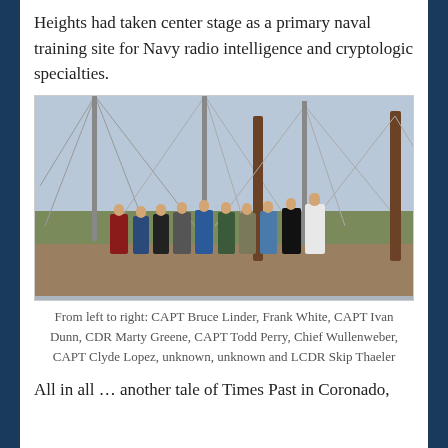Heights had taken center stage as a primary naval training site for Navy radio intelligence and cryptologic specialties.
[Figure (photo): Group photo of approximately 11 men standing outdoors in front of tall radio antenna towers and wooden utility poles, with green grass and open sky in the background.]
From left to right: CAPT Bruce Linder, Frank White, CAPT Ivan Dunn, CDR Marty Greene, CAPT Todd Perry, Chief Wullenweber, CAPT Clyde Lopez, unknown, unknown and LCDR Skip Thaeler
All in all … another tale of Times Past in Coronado,